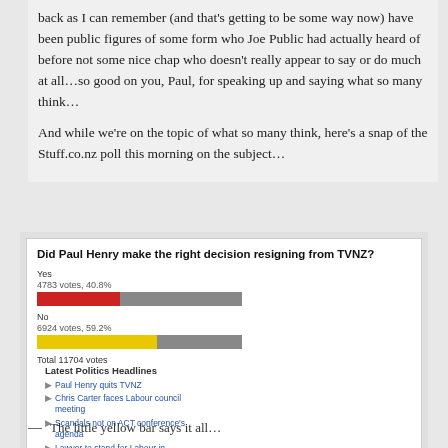back as I can remember (and that's getting to be some way now) have been public figures of some form who Joe Public had actually heard of before not some nice chap who doesn't really appear to say or do much at all…so good on you, Paul, for speaking up and saying what so many think…
And while we're on the topic of what so many think, here's a snap of the Stuff.co.nz poll this morning on the subject…
[Figure (bar-chart): Did Paul Henry make the right decision resigning from TVNZ?]
— The little yellow bar says it all…